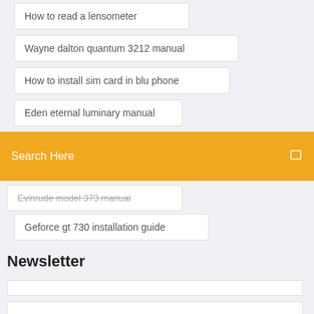How to read a lensometer
Wayne dalton quantum 3212 manual
How to install sim card in blu phone
Eden eternal luminary manual
Search Here
Evinrude model 373 manual
Geforce gt 730 installation guide
Newsletter